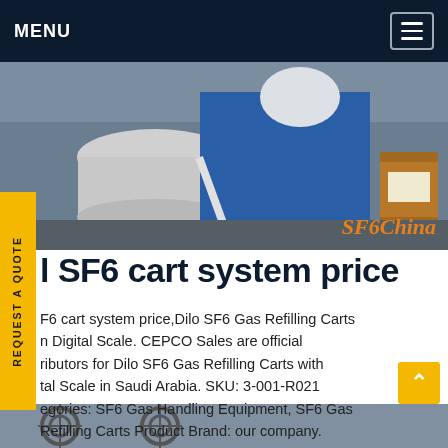MENU
[Figure (photo): Worker in blue protective coveralls and hard hat working on industrial gas equipment. SF6China watermark visible in orange text.]
l SF6 cart system price
F6 cart system price,Dilo SF6 Gas Refilling Carts n Digital Scale. CEPCO Sales are official ributors for Dilo SF6 Gas Refilling Carts with tal Scale in Saudi Arabia. SKU: 3-001-R021 egories: SF6 Gas Handling Equipment, SF6 Gas Refilling Carts Product Brand: our company. Description.Get price
[Figure (photo): Partial view of industrial equipment at bottom of page]